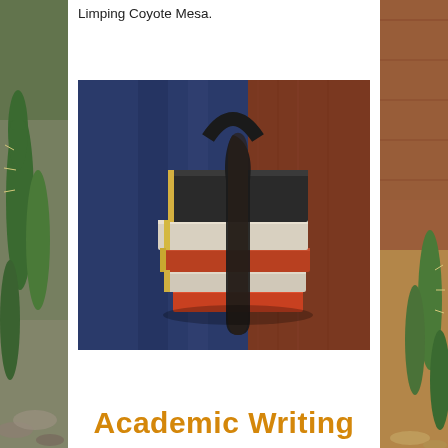Limping Coyote Mesa.
[Figure (photo): Person in blue pants holding a stack of books bundled with a leather strap, standing against a wooden door background.]
Academic Writing